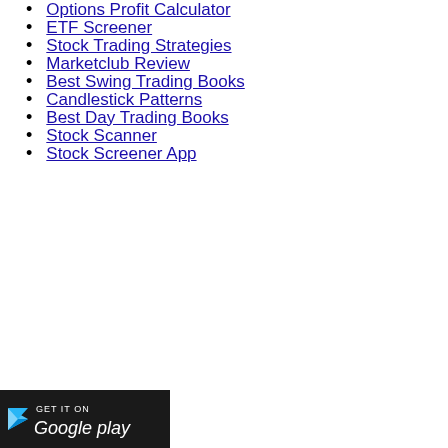Options Profit Calculator
ETF Screener
Stock Trading Strategies
Marketclub Review
Best Swing Trading Books
Candlestick Patterns
Best Day Trading Books
Stock Scanner
Stock Screener App
[Figure (screenshot): Google Play Store badge: GET IT ON Google Play]